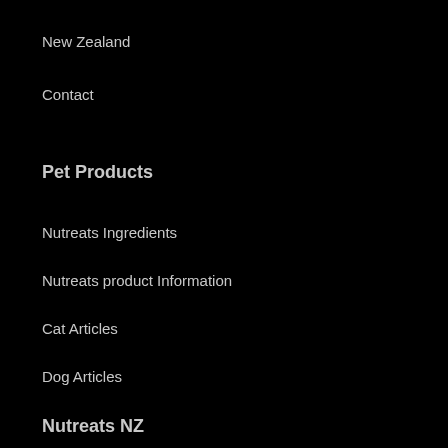New Zealand
Contact
Pet Products
Nutreats Ingredients
Nutreats product Information
Cat Articles
Dog Articles
Nutreats NZ